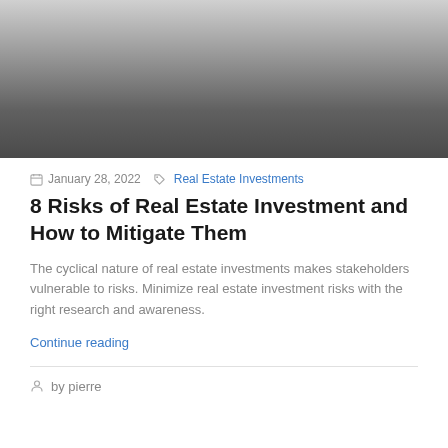[Figure (photo): Gradient image placeholder, light gray at top fading to dark gray/charcoal at bottom]
January 28, 2022  Real Estate Investments
8 Risks of Real Estate Investment and How to Mitigate Them
The cyclical nature of real estate investments makes stakeholders vulnerable to risks. Minimize real estate investment risks with the right research and awareness.
Continue reading
by pierre